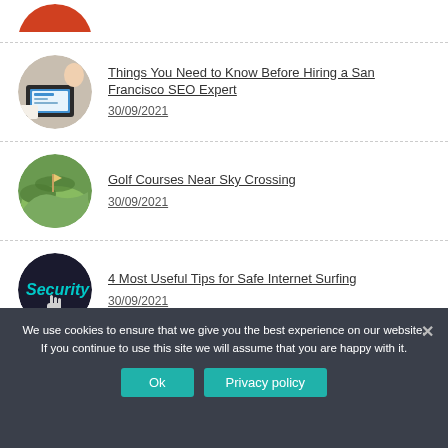[Figure (photo): Partial circular thumbnail of an orange van at the top of the page]
Things You Need to Know Before Hiring a San Francisco SEO Expert
30/09/2021
Golf Courses Near Sky Crossing
30/09/2021
4 Most Useful Tips for Safe Internet Surfing
30/09/2021
We use cookies to ensure that we give you the best experience on our website. If you continue to use this site we will assume that you are happy with it.